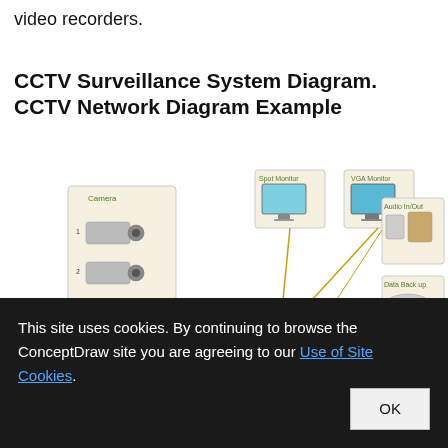video recorders.
CCTV Surveillance System Diagram. CCTV Network Diagram Example
[Figure (network-graph): CCTV network diagram showing cameras (1-4 and 16) connected to a DVR, which connects to Spot Monitor, VGA Monitor, Audio In/Out, Data Back up, Sensor In/Out, and Web/LAN components.]
This site uses cookies. By continuing to browse the ConceptDraw site you are agreeing to our Use of Site Cookies.